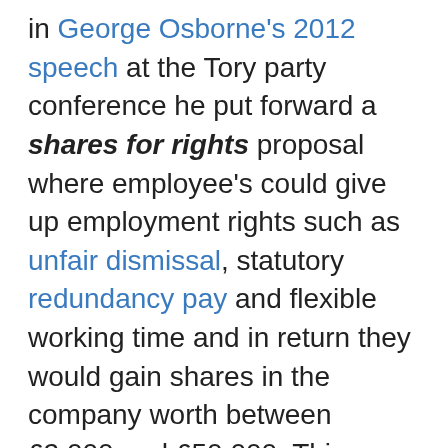in George Osborne's 2012 speech at the Tory party conference he put forward a shares for rights proposal where employee's could give up employment rights such as unfair dismissal, statutory redundancy pay and flexible working time and in return they would gain shares in the company worth between £2,000 and £50,000. This was included with a promise that any profits on the shares would not be charged for capital gains tax. When it was announced it was one of the rare occasions when every side in Parliament from Tory lords to Labour MP's attacked